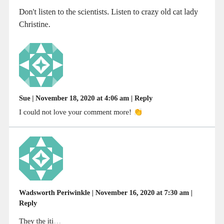Don't listen to the scientists. Listen to crazy old cat lady Christine.
[Figure (illustration): Teal and white geometric quilt pattern avatar for user Sue]
Sue | November 18, 2020 at 4:06 am | Reply
I could not love your comment more! 👏
[Figure (illustration): Teal and white geometric quilt pattern avatar for user Wadsworth Periwinkle]
Wadsworth Periwinkle | November 16, 2020 at 7:30 am | Reply
They authorities to is to is...